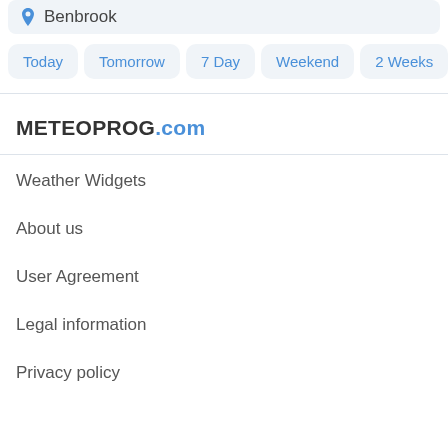Benbrook
Today
Tomorrow
7 Day
Weekend
2 Weeks
M...
METEOPROG.com
Weather Widgets
About us
User Agreement
Legal information
Privacy policy